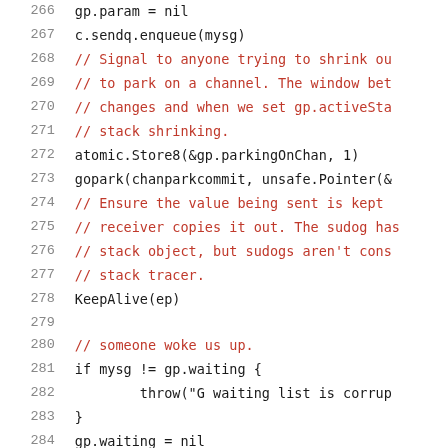[Figure (screenshot): Source code listing showing Go programming language code, lines 266-286, with line numbers on the left and code on the right. Comments are shown in red/dark red, regular code in dark/black.]